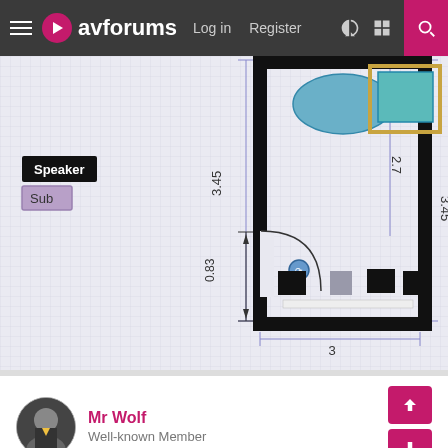avforums Log in Register
[Figure (engineering-diagram): Floor plan / room layout diagram showing a room with dimensions: 3.45m height on left and right sides, 2.7m internal vertical dimension, 0.83m door swing dimension, and 3m width at bottom. Legend shows Speaker (black) and Sub (purple) markers. Room contains furniture items, a door (arc swing), a blue oval rug, a teal/blue rectangular element, and speakers positioned around the room.]
Mr Wolf
Well-known Member
Apr 19, 2022
You easily could do 5.1.4 in that room. Just put rear heights where the ceiling meets the wall in line with the front tops. This